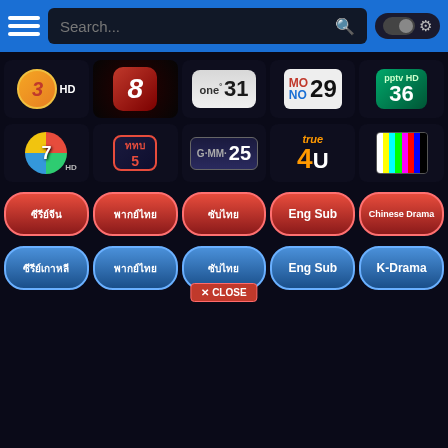[Figure (screenshot): TV streaming app interface with search bar, navigation, channel logos (Channel 3 HD, 8, one31, MONO29, PPTV36, Channel 7 HD, Thai PBS, GMM25, True 4U, colorbar logo), red category buttons (ซีรีย์จีน, พากย์ไทย, ซับไทย, Eng Sub, Chinese Drama), blue category buttons (ซีรีย์เกาหลี, พากย์ไทย, ซับไทย, Eng Sub, K-Drama), and a red CLOSE button overlay]